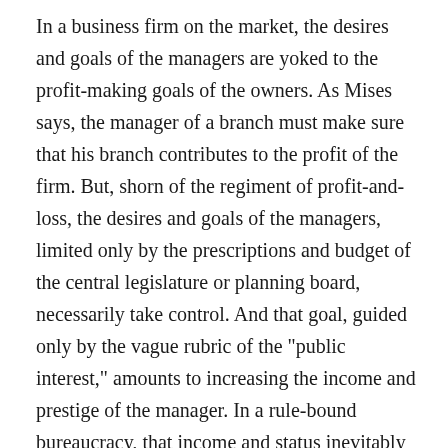In a business firm on the market, the desires and goals of the managers are yoked to the profit-making goals of the owners. As Mises says, the manager of a branch must make sure that his branch contributes to the profit of the firm. But, shorn of the regiment of profit-and-loss, the desires and goals of the managers, limited only by the prescriptions and budget of the central legislature or planning board, necessarily take control. And that goal, guided only by the vague rubric of the "public interest," amounts to increasing the income and prestige of the manager. In a rule-bound bureaucracy, that income and status inevitably depend on how many sub-bureaucrats report to that manager. Hence, each agency and department of government engage in fierce turf wars, each attempting to add to its functions and the number of its employees, and to grab functions from other agencies. So that while the natural tendency of firms or institutions on the free market is to be as efficient as possible in serving the demands of consumers, the natural tendency of government bureaucracy is to grow, and